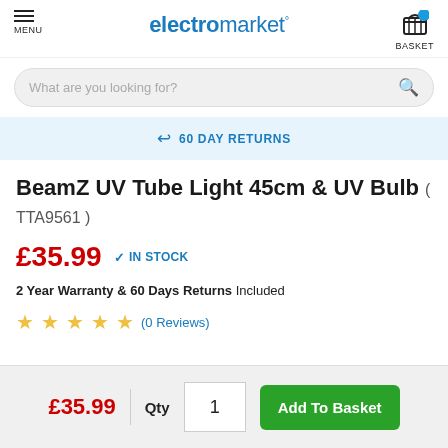electromarket
60 DAY RETURNS
BeamZ UV Tube Light 45cm & UV Bulb ( TTA9561 )
£35.99  IN STOCK
2 Year Warranty & 60 Days Returns Included
(0 Reviews)
£35.99  Qty 1  Add To Basket